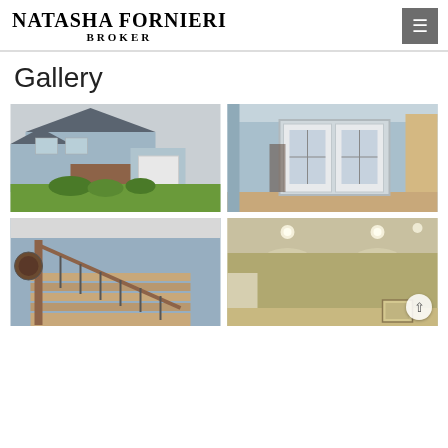NATASHA FORNIERI BROKER
Gallery
[Figure (photo): Exterior view of a residential house with grey and brick siding, white garage door, green lawn and landscaping]
[Figure (photo): Interior entryway with decorative glass double front doors, blue-grey walls and hardwood flooring visible in background]
[Figure (photo): Interior staircase with wooden banister and wrought iron spindles, blue-grey walls]
[Figure (photo): Interior room with recessed ceiling lights, olive/tan walls and neutral flooring; partially visible framed artwork]